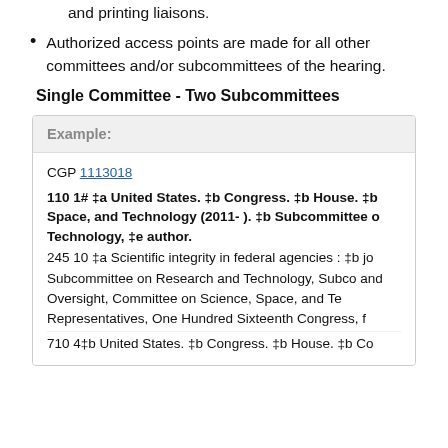reported to the congressional publishing and printing liaisons.
Authorized access points are made for all other committees and/or subcommittees of the hearing.
Single Committee - Two Subcommittees
Example:
CGP 1113018
110 1# ‡a United States. ‡b Congress. ‡b House. ‡b Committee on Science, Space, and Technology (2011- ). ‡b Subcommittee on Research and Technology, ‡e author.
245 10 ‡a Scientific integrity in federal agencies : ‡b joint hearing before the Subcommittee on Research and Technology, Subcommittee on Investigations and Oversight, Committee on Science, Space, and Technology, House of Representatives, One Hundred Sixteenth Congress, first session
710 4‡b United States. ‡b Congress. ‡b House. ‡b Committee on...